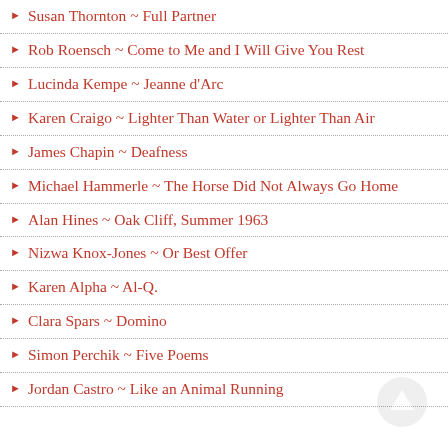Susan Thornton ~ Full Partner
Rob Roensch ~ Come to Me and I Will Give You Rest
Lucinda Kempe ~ Jeanne d'Arc
Karen Craigo ~ Lighter Than Water or Lighter Than Air
James Chapin ~ Deafness
Michael Hammerle ~ The Horse Did Not Always Go Home
Alan Hines ~ Oak Cliff, Summer 1963
Nizwa Knox-Jones ~ Or Best Offer
Karen Alpha ~ Al-Q.
Clara Spars ~ Domino
Simon Perchik ~ Five Poems
Jordan Castro ~ Like an Animal Running